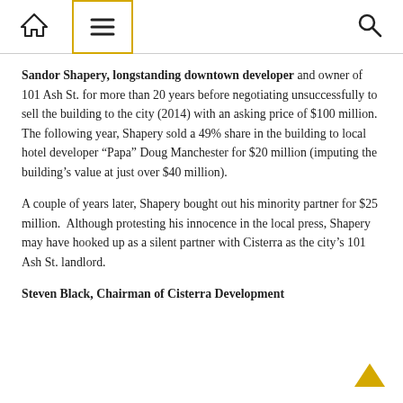Navigation header with home, menu, and search icons
Sandor Shapery, longstanding downtown developer and owner of 101 Ash St. for more than 20 years before negotiating unsuccessfully to sell the building to the city (2014) with an asking price of $100 million.  The following year, Shapery sold a 49% share in the building to local hotel developer “Papa” Doug Manchester for $20 million (imputing the building’s value at just over $40 million).
A couple of years later, Shapery bought out his minority partner for $25 million.  Although protesting his innocence in the local press, Shapery may have hooked up as a silent partner with Cisterra as the city’s 101 Ash St. landlord.
Steven Black, Chairman of Cisterra Development